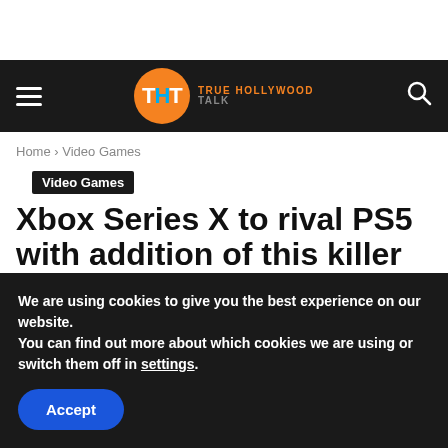THT TRUE HOLLYWOOD TALK
Home › Video Games
Video Games
Xbox Series X to rival PS5 with addition of this killer feature – don't rule it out
We are using cookies to give you the best experience on our website.
You can find out more about which cookies we are using or switch them off in settings.